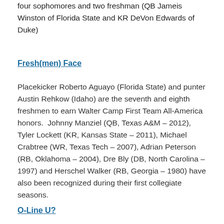four sophomores and two freshman (QB Jameis Winston of Florida State and KR DeVon Edwards of Duke)
Fresh(men) Face
Placekicker Roberto Aguayo (Florida State) and punter Austin Rehkow (Idaho) are the seventh and eighth freshmen to earn Walter Camp First Team All-America honors.  Johnny Manziel (QB, Texas A&M – 2012), Tyler Lockett (KR, Kansas State – 2011), Michael Crabtree (WR, Texas Tech – 2007), Adrian Peterson (RB, Oklahoma – 2004), Dre Bly (DB, North Carolina – 1997) and Herschel Walker (RB, Georgia – 1980) have also been recognized during their first collegiate seasons.
O-Line U?